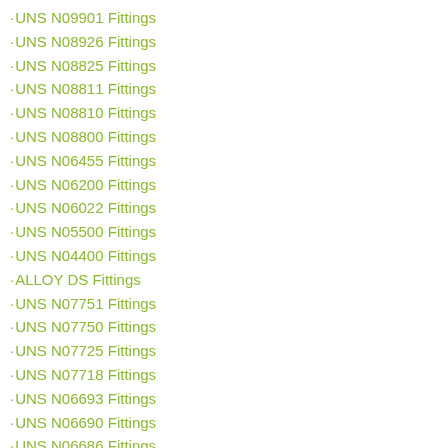·UNS N09901 Fittings
·UNS N08926 Fittings
·UNS N08825 Fittings
·UNS N08811 Fittings
·UNS N08810 Fittings
·UNS N08800 Fittings
·UNS N06455 Fittings
·UNS N06200 Fittings
·UNS N06022 Fittings
·UNS N05500 Fittings
·UNS N04400 Fittings
·ALLOY DS Fittings
·UNS N07751 Fittings
·UNS N07750 Fittings
·UNS N07725 Fittings
·UNS N07718 Fittings
·UNS N06693 Fittings
·UNS N06690 Fittings
·UNS N06686 Fittings
·UNS N06625 Fittings
·UNS N06617 Fittings
·UNS N06601 Fittings
·UNS N06690 Fittings